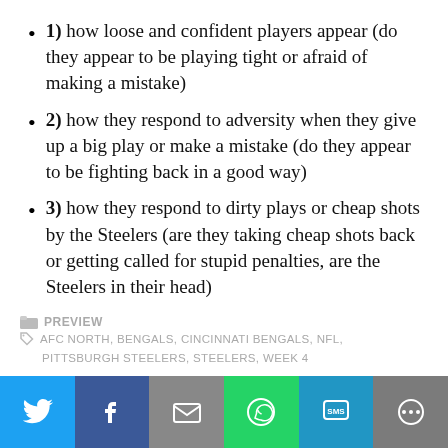1) how loose and confident players appear (do they appear to be playing tight or afraid of making a mistake)
2) how they respond to adversity when they give up a big play or make a mistake (do they appear to be fighting back in a good way)
3) how they respond to dirty plays or cheap shots by the Steelers (are they taking cheap shots back or getting called for stupid penalties, are the Steelers in their head)
PREVIEW
AFC NORTH, BENGALS, CINCINNATI BENGALS, NFL,
PITTSBURGH STEELERS, STEELERS, WEEK 4